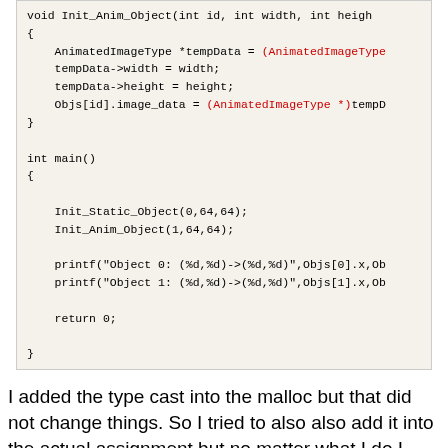[Figure (screenshot): Code block showing C functions: void Init_Anim_Object with AnimatedImageType cast and assignments, and int main() with Init_Static_Object, Init_Anim_Object calls, printf statements, and return 0.]
I added the type cast into the malloc but that did not change things. So I tried to also also add it into the actual assignment but no matter what I do I keep getting:
main.c:48 warning: dereferencing 'void *' pointer